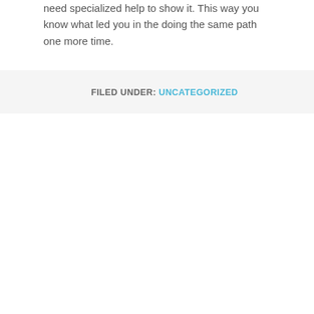need specialized help to show it. This way you know what led you in the doing the same path one more time.
FILED UNDER: UNCATEGORIZED